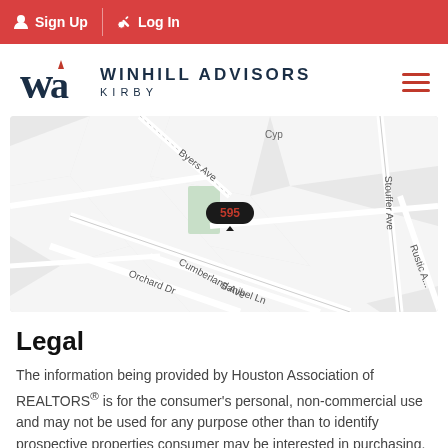Sign Up  Log In
[Figure (logo): Winhill Advisors Kirby logo with WA monogram in dark navy and red flame]
[Figure (map): Street map showing location 595 near Byers Ave, Cumberland Ave, Orchard Dr, Sanibel Ln, Stouffer Ave, Rustic area in Houston neighborhood]
Legal
The information being provided by Houston Association of REALTORS® is for the consumer's personal, non-commercial use and may not be used for any purpose other than to identify prospective properties consumer may be interested in purchasing.